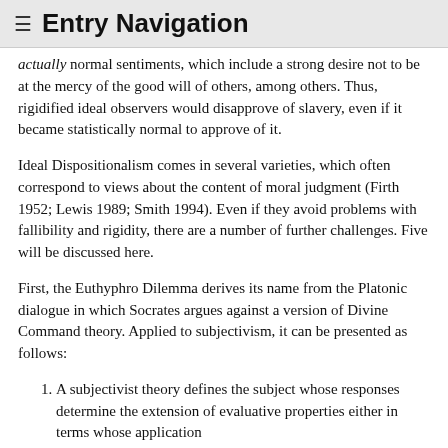≡ Entry Navigation
actually normal sentiments, which include a strong desire not to be at the mercy of the good will of others, among others. Thus, rigidified ideal observers would disapprove of slavery, even if it became statistically normal to approve of it.
Ideal Dispositionalism comes in several varieties, which often correspond to views about the content of moral judgment (Firth 1952; Lewis 1989; Smith 1994). Even if they avoid problems with fallibility and rigidity, there are a number of further challenges. Five will be discussed here.
First, the Euthyphro Dilemma derives its name from the Platonic dialogue in which Socrates argues against a version of Divine Command theory. Applied to subjectivism, it can be presented as follows:
A subjectivist theory defines the subject whose responses determine the extension of evaluative properties either in terms whose application